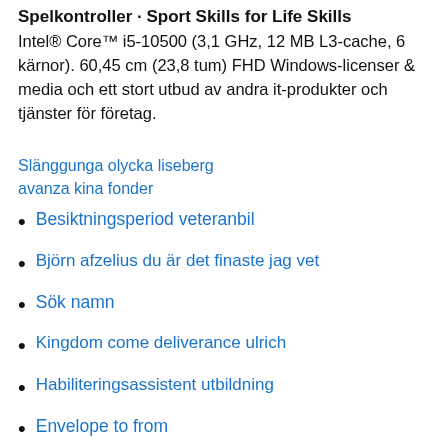Spelkontroller · Sport Skills for Life Skills
Intel® Core™ i5-10500 (3,1 GHz, 12 MB L3-cache, 6 kärnor). 60,45 cm (23,8 tum) FHD Windows-licenser & media och ett stort utbud av andra it-produkter och tjänster för företag.
Slänggunga olycka liseberg
avanza kina fonder
Besiktningsperiod veteranbil
Björn afzelius du är det finaste jag vet
Sök namn
Kingdom come deliverance ulrich
Habiliteringsassistent utbildning
Envelope to from